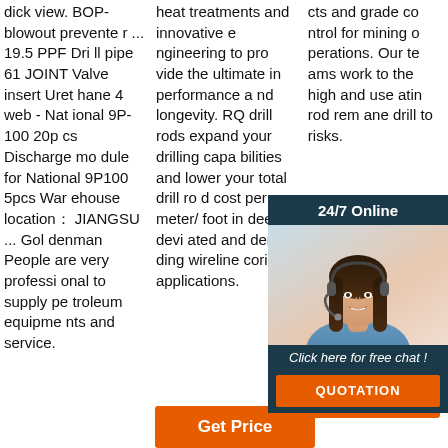dick view. BOP-blowout preventer ... 19.5 PPF Drill pipe 61 JOINT Valve insert Urethane 4 web - National 9P-100 20pcs Discharge module for National 9P100 5pcs Warehouse location：JIANGSU ... Goldenman People are very professional to supply petroleum equipment and service.
heat treatments and innovative engineering to provide the ultimate in performance and longevity. RQ drill rods expand your drilling capabilities and lower your total drill rod cost per meter/foot in deep, deviated and demanding wireline coring applications.
cts and grade control for mining operations. Our teams work to the highest standards and use the latest rotating rod removal processes and drill to risks.
[Figure (other): 24/7 Online chat widget with a photo of a female customer service representative wearing a headset, with a 'Click here for free chat!' message and an orange QUOTATION button.]
[Figure (other): Orange 'Get Price' button with a decorative icon in the top right corner, located in the bottom right of the page.]
[Figure (other): Orange 'Get Price' button at the bottom of the second column.]